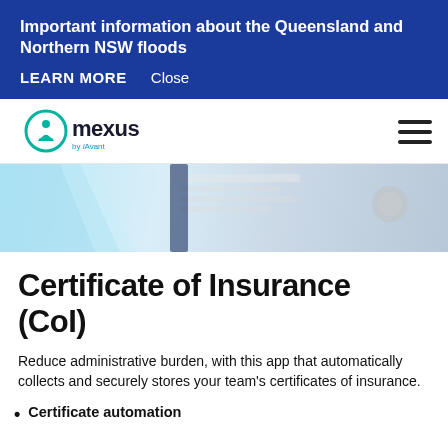Important information about the Queensland and Northern NSW floods
LEARN MORE   Close
[Figure (logo): Mexus by Avant logo — circular teal/green icon with stylized person figure, 'mexus' in bold dark text, 'by Avant' in smaller teal text below]
[Figure (photo): Hero image: desk scene with papers/folders, stethoscope, and light blue diagonal stripe overlay on left side]
Certificate of Insurance (CoI)
Reduce administrative burden, with this app that automatically collects and securely stores your team's certificates of insurance.
Certificate automation